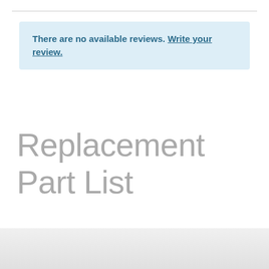There are no available reviews. Write your review.
Replacement Part List
No part list nor schematic for this product